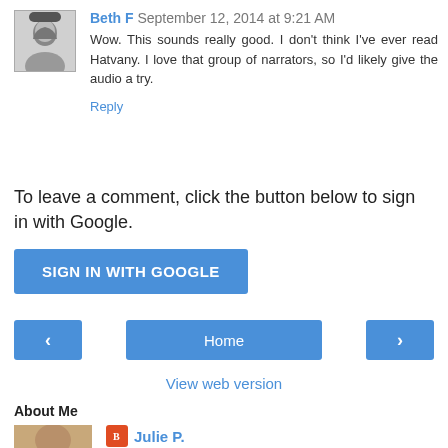[Figure (photo): Small avatar photo of Beth F, a grayscale illustration of a woman]
Beth F September 12, 2014 at 9:21 AM
Wow. This sounds really good. I don't think I've ever read Hatvany. I love that group of narrators, so I'd likely give the audio a try.
Reply
To leave a comment, click the button below to sign in with Google.
SIGN IN WITH GOOGLE
‹
Home
›
View web version
About Me
[Figure (photo): Small photo of Julie P.]
Julie P.